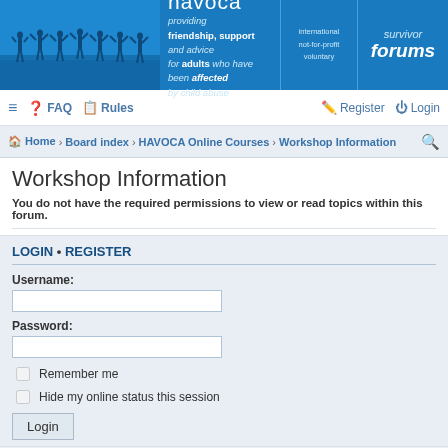[Figure (logo): Havoca survivor forums banner with blue background, silhouette figures, and text: havoca providing friendship, support and advice for adults who have been affected by child abuse. international not-for-profit voluntary. survivor forums.]
≡  FAQ  Rules    Register  Login
Home › Board index › HAVOCA Online Courses › Workshop Information
Workshop Information
You do not have the required permissions to view or read topics within this forum.
LOGIN • REGISTER
Username:
Password:
Remember me
Hide my online status this session
Login
This category has no forums.